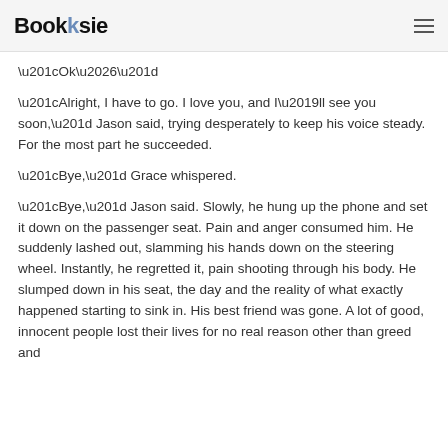Booksie
“Ok…”
“Alright, I have to go. I love you, and I’ll see you soon,” Jason said, trying desperately to keep his voice steady. For the most part he succeeded.
“Bye,” Grace whispered.
“Bye,” Jason said. Slowly, he hung up the phone and set it down on the passenger seat. Pain and anger consumed him. He suddenly lashed out, slamming his hands down on the steering wheel. Instantly, he regretted it, pain shooting through his body. He slumped down in his seat, the day and the reality of what exactly happened starting to sink in. His best friend was gone. A lot of good, innocent people lost their lives for no real reason other than greed and